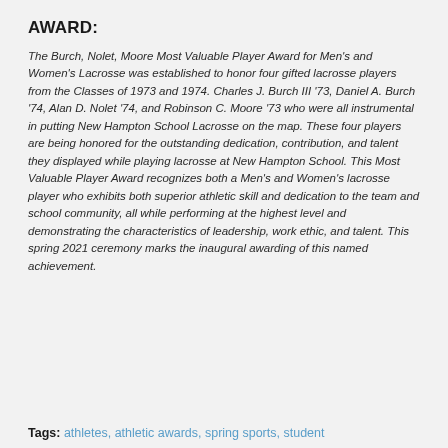AWARD:
The Burch, Nolet, Moore Most Valuable Player Award for Men's and Women's Lacrosse was established to honor four gifted lacrosse players from the Classes of 1973 and 1974. Charles J. Burch III '73, Daniel A. Burch '74, Alan D. Nolet '74, and Robinson C. Moore '73 who were all instrumental in putting New Hampton School Lacrosse on the map. These four players are being honored for the outstanding dedication, contribution, and talent they displayed while playing lacrosse at New Hampton School. This Most Valuable Player Award recognizes both a Men's and Women's lacrosse player who exhibits both superior athletic skill and dedication to the team and school community, all while performing at the highest level and demonstrating the characteristics of leadership, work ethic, and talent. This spring 2021 ceremony marks the inaugural awarding of this named achievement.
Tags: athletes, athletic awards, spring sports, student